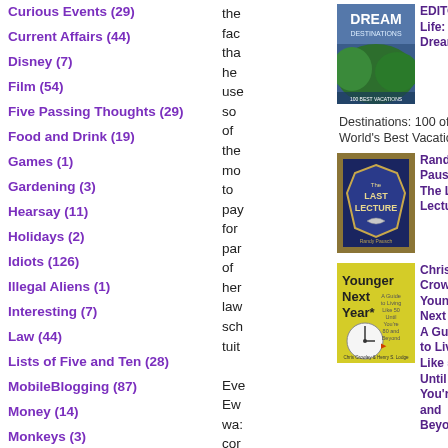Curious Events (29)
Current Affairs (44)
Disney (7)
Film (54)
Five Passing Thoughts (29)
Food and Drink (19)
Games (1)
Gardening (3)
Hearsay (11)
Holidays (2)
Idiots (126)
Illegal Aliens (1)
Interesting (7)
Law (44)
Lists of Five and Ten (28)
MobileBlogging (87)
Money (14)
Monkeys (3)
the fact that he used some of the money to pay for part of her law school tuition. Every Ewing was coming and
[Figure (photo): Book cover: Life: Dream Destinations: 100 of the World's Best Vacations - showing tropical scenery]
EDITORS: Life: Dream
Destinations: 100 of the World's Best Vacations
[Figure (photo): Book cover: Randy Pausch: The Last Lecture - dark blue cover with ribbon]
Randy Pausch: The Last Lecture
[Figure (photo): Book cover: Chris Crowley: Younger Next Year: A Guide to Living Like 50 Until You're 80 and Beyond - showing clock]
Chris Crowley: Younger Next Year: A Guide to Living Like 50 Until You're 80 and Beyond